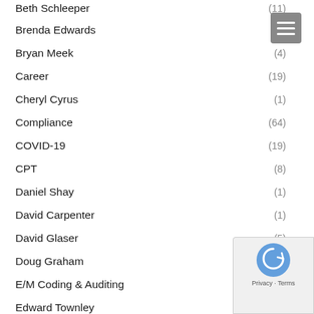Beth Schleeper (11)
Brenda Edwards (4)
Bryan Meek (4)
Career (19)
Cheryl Cyrus (1)
Compliance (64)
COVID-19 (19)
CPT (8)
Daniel Shay (1)
David Carpenter (1)
David Glaser (5)
Doug Graham (1)
E/M Coding & Auditing (86)
Edward Townley
Frank Cohen (2)